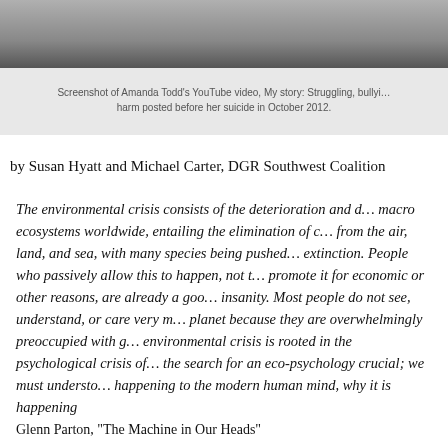[Figure (photo): Grayscale screenshot of Amanda Todd's YouTube video, cropped at top of page]
Screenshot of Amanda Todd's YouTube video, My story: Struggling, bullying, suicide, self harm posted before her suicide in October 2012.
by Susan Hyatt and Michael Carter, DGR Southwest Coalition
The environmental crisis consists of the deterioration and destruction of macro ecosystems worldwide, entailing the elimination of countless species from the air, land, and sea, with many species being pushed toward extinction. People who passively allow this to happen, not to mention promote it for economic or other reasons, are already a good measure of insanity. Most people do not see, understand, or care very much about our planet because they are overwhelmingly preoccupied with g... environmental crisis is rooted in the psychological crisis of... the search for an eco-psychology crucial; we must understand what is happening to the modern human mind, why it is happening...
Glenn Parton, "The Machine in Our Heads"